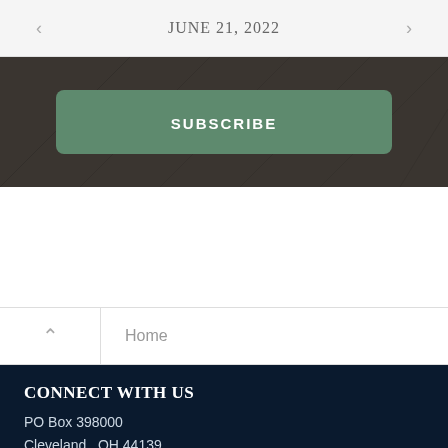< JUNE 21, 2022 >
[Figure (other): Dark wood-textured banner with a green SUBSCRIBE button]
Home
CONNECT WITH US
PO Box 398000
Cleveland , OH 44139